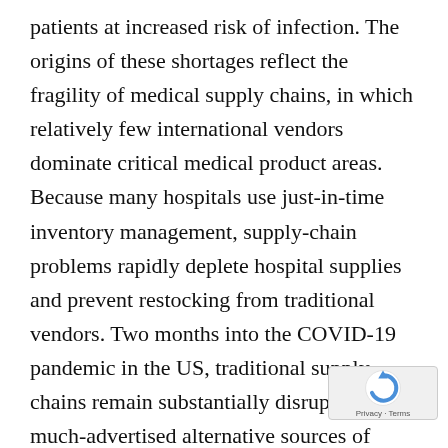patients at increased risk of infection. The origins of these shortages reflect the fragility of medical supply chains, in which relatively few international vendors dominate critical medical product areas. Because many hospitals use just-in-time inventory management, supply-chain problems rapidly deplete hospital supplies and prevent restocking from traditional vendors. Two months into the COVID-19 pandemic in the US, traditional supply chains remain substantially disrupted, and much-advertised alternative sources of supply from large companies have not yet been widely distributed.

Faced with this crisis, many caregivers and medical centers have turned to local
[Figure (other): reCAPTCHA privacy badge with circular arrow logo and 'Privacy - Terms' text]